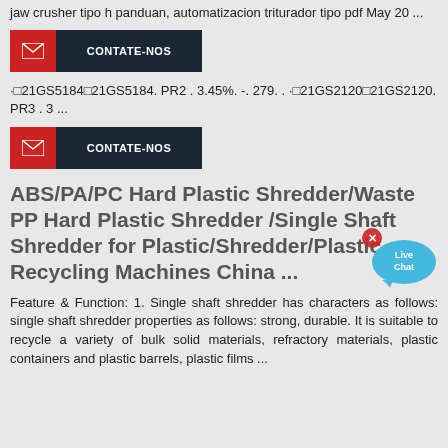jaw crusher tipo h panduan, automatizacion triturador tipo pdf May 20 ...
[Figure (other): Contact button with envelope icon and text CONTATE-NOS on dark background]
·□21GS5184□21GS5184. PR2 . 3.45%. -. 279. . ·□21GS2120□21GS2120. PR3 . 3 ...
[Figure (other): Contact button with envelope icon and text CONTATE-NOS on dark background]
[Figure (other): Live Chat speech bubble widget in blue]
ABS/PA/PC Hard Plastic Shredder/Waste PP Hard Plastic Shredder /Single Shaft Shredder for Plastic/Shredder/Plastic Recycling Machines China ...
Feature & Function: 1. Single shaft shredder has characters as follows: single shaft shredder properties as follows: strong, durable. It is suitable to recycle a variety of bulk solid materials, refractory materials, plastic containers and plastic barrels, plastic films ...